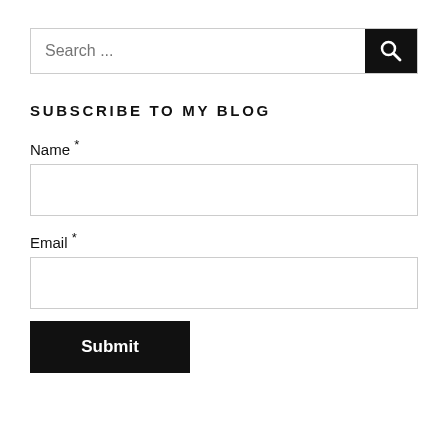[Figure (screenshot): Search bar with text 'Search ...' and a black search button with magnifying glass icon on the right]
SUBSCRIBE TO MY BLOG
Name *
[Figure (screenshot): Empty text input field for Name]
Email *
[Figure (screenshot): Empty text input field for Email]
[Figure (screenshot): Black Submit button]